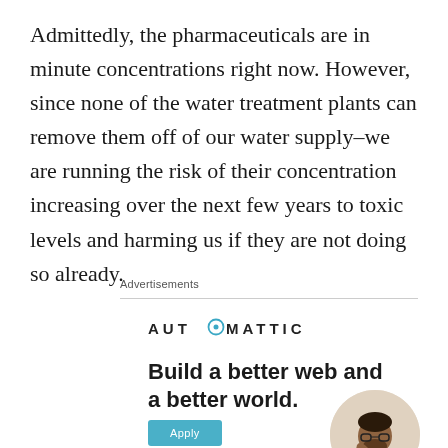Admittedly, the pharmaceuticals are in minute concentrations right now. However, since none of the water treatment plants can remove them off of our water supply–we are running the risk of their concentration increasing over the next few years to toxic levels and harming us if they are not doing so already.
Advertisements
[Figure (logo): Automattic logo with circular blue 'O' accent]
Build a better web and a better world.
[Figure (photo): Man sitting and thinking, in a circular cropped photo]